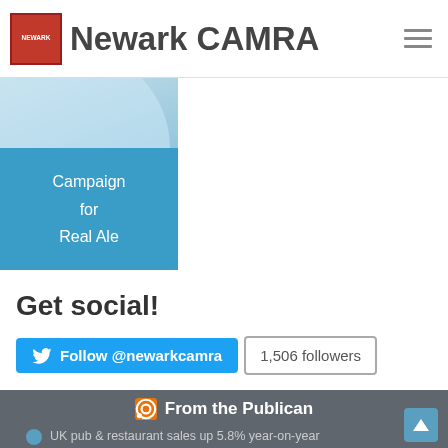Newark CAMRA
[Figure (logo): CAMRA Campaign for Real Ale logo with Newark CAMRA branding, blue background with circular emblem]
Get social!
Follow @newarkcamra  1,506 followers
From the Publican
UK pub & restaurant sales up 5.8% year-on-year
Video: Publican Awards – Judging day
Industry figures welcome inquiry into review websites
New campaign to help publicans that are pressured to serve drunks
Admiral Taverns unveils new apprentice training partnership
SIBA publishes manifesto for beer